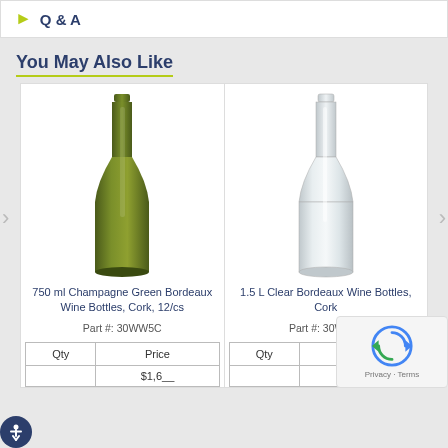Q & A
You May Also Like
[Figure (photo): Green wine bottle - 750 ml Champagne Green Bordeaux Wine Bottles]
750 ml Champagne Green Bordeaux Wine Bottles, Cork, 12/cs
Part #: 30WW5C
| Qty | Price |
| --- | --- |
|  | $1,6__ |
[Figure (photo): Clear wine bottle - 1.5 L Clear Bordeaux Wine Bottles]
1.5 L Clear Bordeaux Wine Bottles, Cork
Part #: 30WF15
| Qty | Price |
| --- | --- |
|  | $0,005 |
[Figure (other): reCAPTCHA badge with Privacy and Terms links]